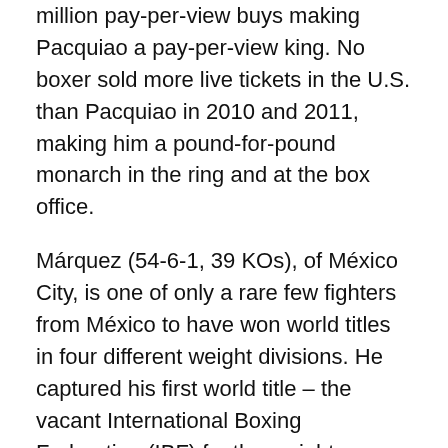million pay-per-view buys making Pacquiao a pay-per-view king. No boxer sold more live tickets in the U.S. than Pacquiao in 2010 and 2011, making him a pound-for-pound monarch in the ring and at the box office.
Márquez (54-6-1, 39 KOs), of México City, is one of only a rare few fighters from México to have won world titles in four different weight divisions. He captured his first world title – the vacant International Boxing Federation (IBF) featherweight championship – with a seventh-round stoppage of three-time featherweight champion Manuel Medina in 2003. He unified the title that same year with a decisive victory over World Boxing Association (WBA) featherweight titlist Derrick Gainer. Márquez successfully defended the titles three times during his three-year reign, which included unanimous decision victories over Victor Polo and Orlando Salido